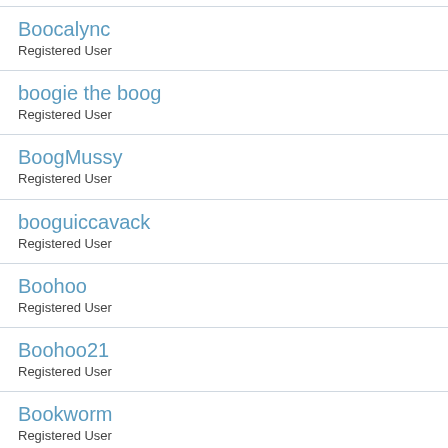Boocalync
Registered User
boogie the boog
Registered User
BoogMussy
Registered User
booguiccavack
Registered User
Boohoo
Registered User
Boohoo21
Registered User
Bookworm
Registered User